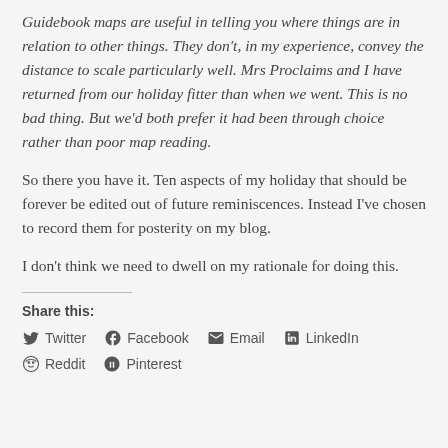Guidebook maps are useful in telling you where things are in relation to other things. They don't, in my experience, convey the distance to scale particularly well. Mrs Proclaims and I have returned from our holiday fitter than when we went. This is no bad thing. But we'd both prefer it had been through choice rather than poor map reading.
So there you have it. Ten aspects of my holiday that should be forever be edited out of future reminiscences. Instead I've chosen to record them for posterity on my blog.
I don't think we need to dwell on my rationale for doing this.
Share this:
Twitter  Facebook  Email  LinkedIn  Reddit  Pinterest